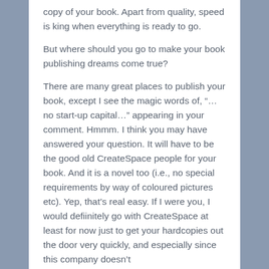copy of your book. Apart from quality, speed is king when everything is ready to go.
But where should you go to make your book publishing dreams come true?
There are many great places to publish your book, except I see the magic words of, “…no start-up capital…” appearing in your comment. Hmmm. I think you may have answered your question. It will have to be the good old CreateSpace people for your book. And it is a novel too (i.e., no special requirements by way of coloured pictures etc). Yep, that’s real easy. If I were you, I would defiinitely go with CreateSpace at least for now just to get your hardcopies out the door very quickly, and especially since this company doesn’t